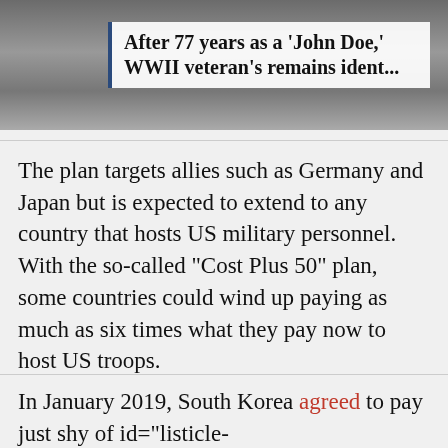[Figure (photo): Black and white historical photo background at top of page, partially obscured]
After 77 years as a 'John Doe,' WWII veteran's remains ident...
The plan targets allies such as Germany and Japan but is expected to extend to any country that hosts US military personnel. With the so-called “Cost Plus 50” plan, some countries could wind up paying as much as six times what they pay now to host US troops.
In January 2019, South Korea agreed to pay just shy of id="listicle-